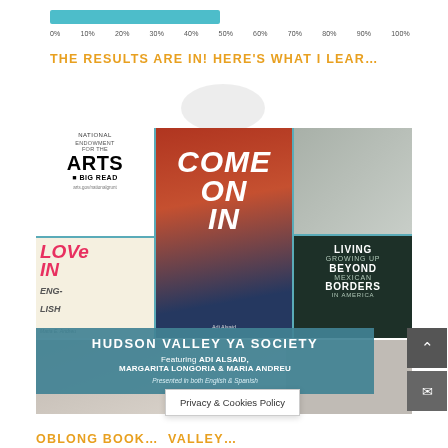[Figure (other): Partial progress bar with teal fill and percentage labels 0% through 100%]
THE RESULTS ARE IN! HERE'S WHAT I LEAR…
[Figure (photo): Collage image for Hudson Valley YA Society event featuring book covers (Come On In, Love in English, Living Beyond Borders, National Endowment for the Arts Big Read) and photos of people/authors]
HUDSON VALLEY YA SOCIETY
Featuring ADI ALSAID, MARGARITA LONGORIA & MARIA ANDREU
Presented in both English & Spanish
Privacy & Cookies Policy
OBLONG BOOK… VALLEY…